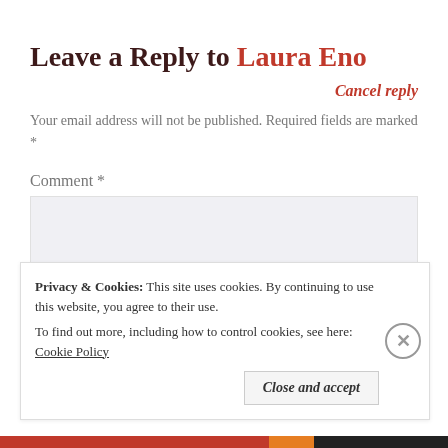Leave a Reply to Laura Eno
Cancel reply
Your email address will not be published. Required fields are marked *
Comment *
Privacy & Cookies: This site uses cookies. By continuing to use this website, you agree to their use. To find out more, including how to control cookies, see here: Cookie Policy
Close and accept